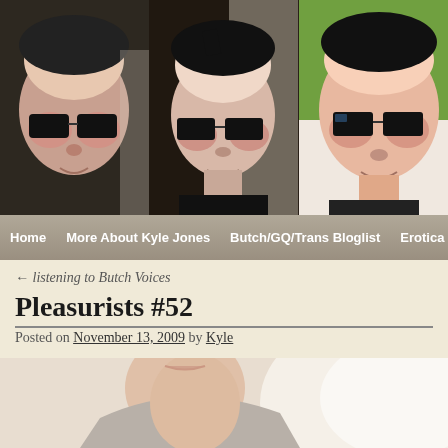[Figure (photo): Blog header with three side-by-side stylized/filtered photos of a person wearing thick-rimmed glasses, followed by a navigation bar with links: Home, More About Kyle Jones, Butch/GQ/Trans Bloglist, Erotica]
← listening to Butch Voices
Pleasurists #52
Posted on November 13, 2009 by Kyle
[Figure (photo): Partial bottom image showing a person's neck/shoulder area in soft lighting]